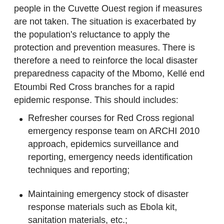people in the Cuvette Ouest region if measures are not taken. The situation is exacerbated by the population's reluctance to apply the protection and prevention measures. There is therefore a need to reinforce the local disaster preparedness capacity of the Mbomo, Kellé end Etoumbi Red Cross branches for a rapid epidemic response. This should includes:
Refresher courses for Red Cross regional emergency response team on ARCHI 2010 approach, epidemics surveillance and reporting, emergency needs identification techniques and reporting;
Maintaining emergency stock of disaster response materials such as Ebola kit, sanitation materials, etc.;
Support risk mapping and disaster planning activities of the regional government authorities and local NGOs.